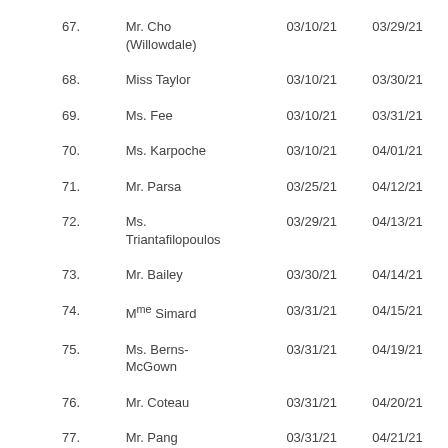| 67. | Mr. Cho (Willowdale) | 03/10/21 | 03/29/21 |
| 68. | Miss Taylor | 03/10/21 | 03/30/21 |
| 69. | Ms. Fee | 03/10/21 | 03/31/21 |
| 70. | Ms. Karpoche | 03/10/21 | 04/01/21 |
| 71. | Mr. Parsa | 03/25/21 | 04/12/21 |
| 72. | Ms. Triantafilopoulos | 03/29/21 | 04/13/21 |
| 73. | Mr. Bailey | 03/30/21 | 04/14/21 |
| 74. | Mme Simard | 03/31/21 | 04/15/21 |
| 75. | Ms. Berns-McGown | 03/31/21 | 04/19/21 |
| 76. | Mr. Coteau | 03/31/21 | 04/20/21 |
| 77. | Mr. Pang | 03/31/21 | 04/21/21 |
| 78. | Mr. Bourgouin | 03/31/21 | 04/22/21 |